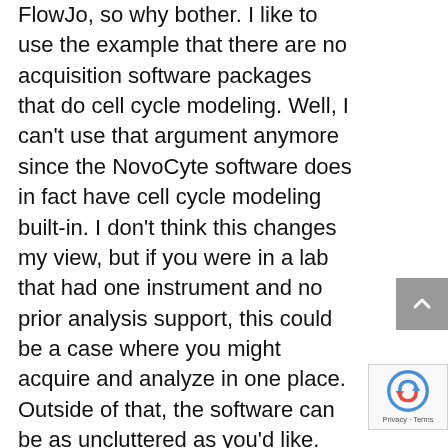FlowJo, so why bother. I like to use the example that there are no acquisition software packages that do cell cycle modeling. Well, I can't use that argument anymore since the NovoCyte software does in fact have cell cycle modeling built-in. I don't think this changes my view, but if you were in a lab that had one instrument and no prior analysis support, this could be a case where you might acquire and analyze in one place. Outside of that, the software can be as uncluttered as you'd like. Again, since there's no need to adjust voltages, there's really no need to sift through an endless sea of plots and region hierarchies.